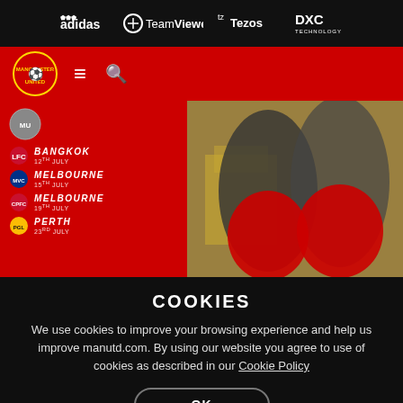[Figure (screenshot): Sponsor bar with adidas, TeamViewer, Tezos, DXC Technology logos]
[Figure (screenshot): Manchester United website navigation bar with crest, hamburger menu, search icon]
[Figure (screenshot): Hero image showing Manchester United pre-season tour fixtures: Bangkok 12th July, Melbourne 15th July, Melbourne 19th July, Perth 23rd July, with players in background]
COOKIES
We use cookies to improve your browsing experience and help us improve manutd.com. By using our website you agree to use of cookies as described in our Cookie Policy
OK